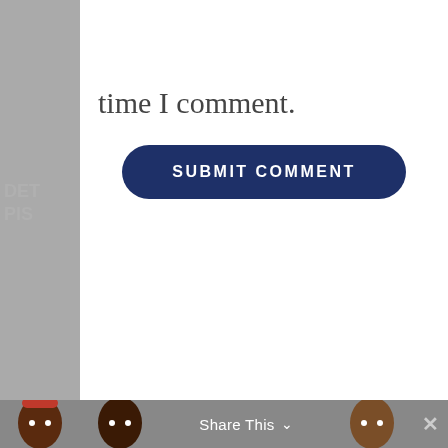time I comment.
[Figure (other): Dark navy blue rounded rectangle button with text 'SUBMIT COMMENT' in white uppercase letters]
[Figure (other): Pistons emoji sticker panel with dashed border containing Detroit Pistons logo and five cartoon player face emojis]
[Figure (other): Bottom gray bar with partial player face emojis and 'Share This' text with chevron down arrow and X close button]